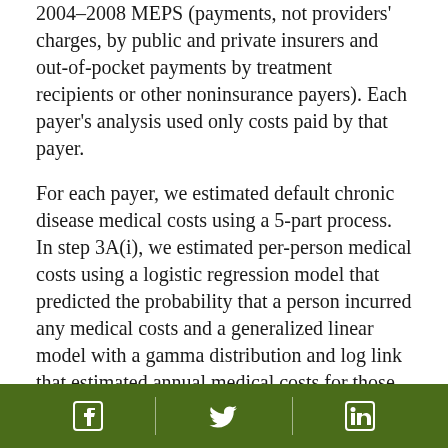2004–2008 MEPS (payments, not providers' charges, by public and private insurers and out-of-pocket payments by treatment recipients or other noninsurance payers). Each payer's analysis used only costs paid by that payer.
For each payer, we estimated default chronic disease medical costs using a 5-part process. In step 3A(i), we estimated per-person medical costs using a logistic regression model that predicted the probability that a person incurred any medical costs and a generalized linear model with a gamma distribution and log link that estimated annual medical costs for those incurring such costs.
Hypertension and diabetes are risk factors for other chronic conditions, and costs for these conditions
Social media icons: Facebook, Twitter, LinkedIn